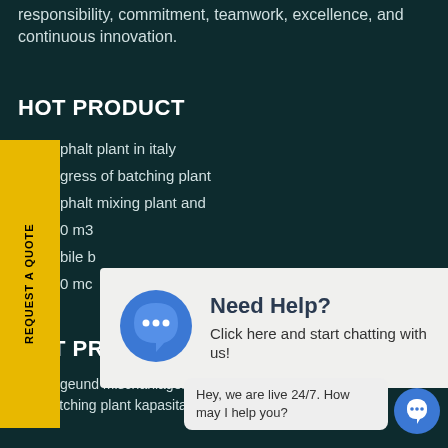responsibility, commitment, teamwork, excellence, and continuous innovation.
HOT PRODUCT
REQUEST A QUOTE
phalt plant in italy
gress of batching plant
phalt mixing plant and
0 m3
bile b
0 mc
[Figure (infographic): Chat popup widget with blue speech bubble icon and text 'Need Help? Click here and start chatting with us!']
HOT PRODUCT
Verwiegeund Mischanlagen ha jual batching plant kapasitas 60 m3 multi karya adi